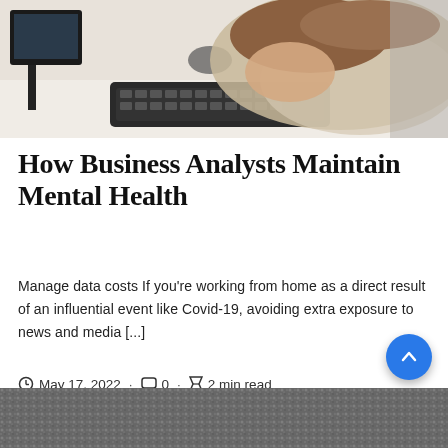[Figure (photo): Person with head resting on desk in front of a computer monitor and keyboard, viewed from above]
How Business Analysts Maintain Mental Health
Manage data costs If you're working from home as a direct result of an influential event like Covid-19, avoiding extra exposure to news and media [...]
May 17, 2022 · 0 · 2 min read
[Figure (photo): Close-up of gravel or stone surface, partially visible at bottom of page]